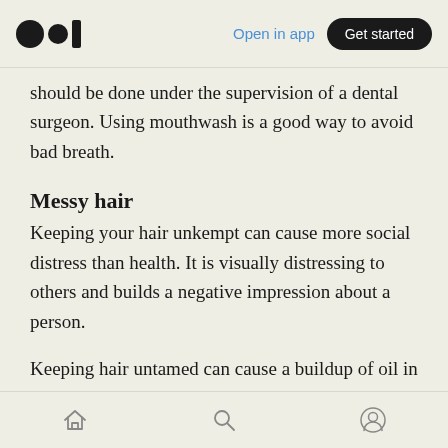Open in app | Get started
should be done under the supervision of a dental surgeon. Using mouthwash is a good way to avoid bad breath.
Messy hair
Keeping your hair unkempt can cause more social distress than health. It is visually distressing to others and builds a negative impression about a person.
Keeping hair untamed can cause a buildup of oil in the scalp. This creates a rich environment for
Home Search Profile